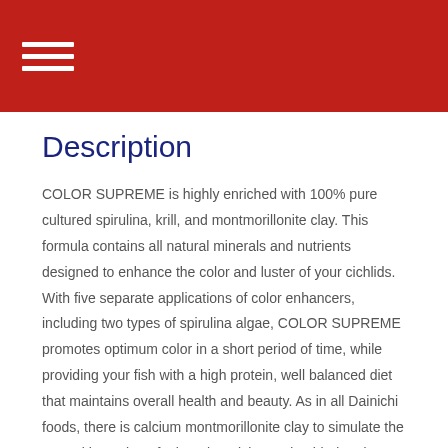Description
COLOR SUPREME is highly enriched with 100% pure cultured spirulina, krill, and montmorillonite clay. This formula contains all natural minerals and nutrients designed to enhance the color and luster of your cichlids. With five separate applications of color enhancers, including two types of spirulina algae, COLOR SUPREME promotes optimum color in a short period of time, while providing your fish with a high protein, well balanced diet that maintains overall health and beauty. As in all Dainichi foods, there is calcium montmorillonite clay to simulate the natural ingestion of mineral particles and to bind and neutralize metabolic